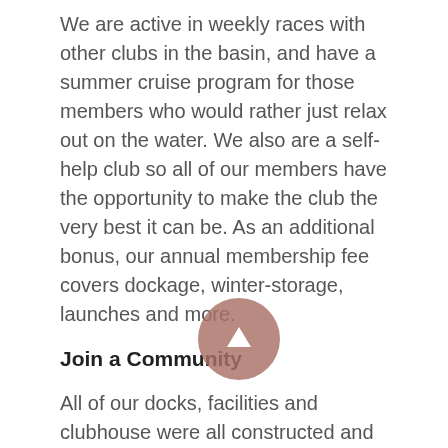We are active in weekly races with other clubs in the basin, and have a summer cruise program for those members who would rather just relax out on the water. We also are a self-help club so all of our members have the opportunity to make the club the very best it can be. As an additional bonus, our annual membership fee covers dockage, winter-storage, launches and more.
Join a Community
All of our docks, facilities and clubhouse were all constructed and are maintained by our members. We have one of the best locations on Lake Ontario so we want to make sure our club facilities matches that. All of our infrastructure and maintenance are completed by members who are responsible for completing 15 hours of work annually, plus additional work during launch and haul-out. By using the efforts of our members we can make sure we keep our costs low and reasonable.